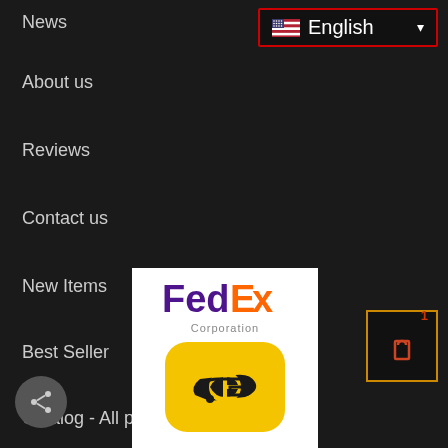News
About us
Reviews
Contact us
New Items
Best Seller
Catalog - All products
[Figure (screenshot): Language selector button showing English with US flag and dropdown arrow, outlined in red]
[Figure (screenshot): Shopping cart icon button with badge showing count 1, outlined in orange/yellow]
[Figure (logo): FedEx Corporation logo on white background with Deutsche Post yellow icon below]
[Figure (screenshot): Share button (circular grey button with share icon)]